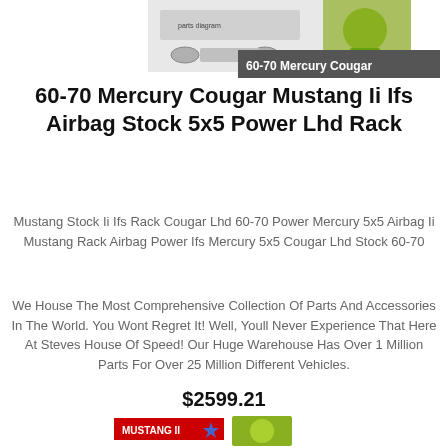[Figure (photo): Product parts diagram image on left side and green power tool/component on right side with dark gray label bar showing '60-70 Mercury Cougar']
60-70 Mercury Cougar Mustang Ii Ifs Airbag Stock 5x5 Power Lhd Rack
Mustang Stock Ii Ifs Rack Cougar Lhd 60-70 Power Mercury 5x5 Airbag Ii Mustang Rack Airbag Power Ifs Mercury 5x5 Cougar Lhd Stock 60-70
We House The Most Comprehensive Collection Of Parts And Accessories In The World. You Wont Regret It! Well, Youll Never Experience That Here At Steves House Of Speed! Our Huge Warehouse Has Over 1 Million Parts For Over 25 Million Different Vehicles.
$2599.21
[Figure (logo): Mustang II badge in red with star icon, and partial green component image on the right]